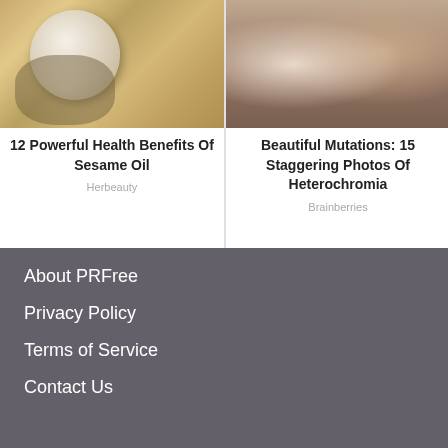[Figure (photo): Close-up photo of a hand holding a round ball (possibly dough or soap) over a bowl with sesame seeds]
12 Powerful Health Benefits Of Sesame Oil
Herbeauty
[Figure (photo): Photo of a smiling blonde woman holding a puppy close to her face]
Beautiful Mutations: 15 Staggering Photos Of Heterochromia
Brainberries
About PRFree
Privacy Policy
Terms of Service
Contact Us